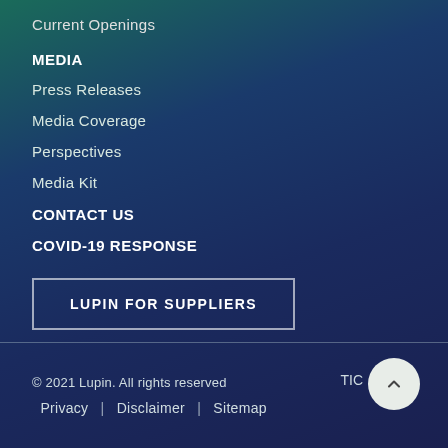Current Openings
MEDIA
Press Releases
Media Coverage
Perspectives
Media Kit
CONTACT US
COVID-19 RESPONSE
LUPIN FOR SUPPLIERS
© 2021 Lupin. All rights reserved   Privacy  |  Disclaimer  |  Sitemap